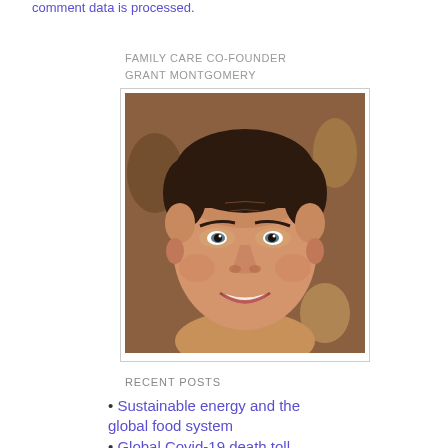comment data is processed.
FAMILY CARE CO-FOUNDER
GRANT MONTGOMERY
[Figure (photo): Headshot of Grant Montgomery, a middle-aged man with dark hair, smiling, wearing casual clothing, with a blurred background.]
RECENT POSTS
Sustainable energy and the global food system
Global Covid-19 death toll